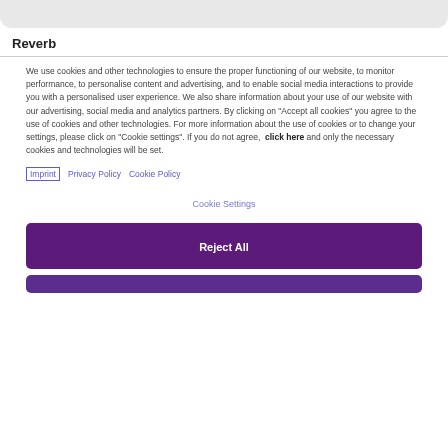Reverb
We use cookies and other technologies to ensure the proper functioning of our website, to monitor performance, to personalise content and advertising, and to enable social media interactions to provide you with a personalised user experience. We also share information about your use of our website with our advertising, social media and analytics partners. By clicking on "Accept all cookies" you agree to the use of cookies and other technologies. For more information about the use of cookies or to change your settings, please click on "Cookie settings". If you do not agree,  click here and only the necessary cookies and technologies will be set.
Imprint   Privacy Policy   Cookie Policy
Cookie Settings
Reject All